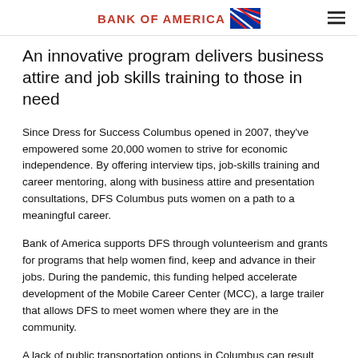BANK OF AMERICA
An innovative program delivers business attire and job skills training to those in need
Since Dress for Success Columbus opened in 2007, they've empowered some 20,000 women to strive for economic independence. By offering interview tips, job-skills training and career mentoring, along with business attire and presentation consultations, DFS Columbus puts women on a path to a meaningful career.
Bank of America supports DFS through volunteerism and grants for programs that help women find, keep and advance in their jobs. During the pandemic, this funding helped accelerate development of the Mobile Career Center (MCC), a large trailer that allows DFS to meet women where they are in the community.
A lack of public transportation options in Columbus can result